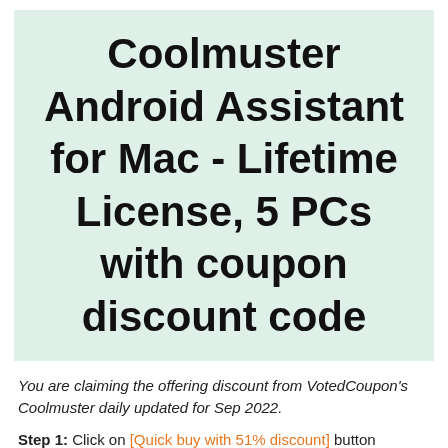Coolmuster Android Assistant for Mac - Lifetime License, 5 PCs with coupon discount code
You are claiming the offering discount from VotedCoupon's Coolmuster daily updated for Sep 2022.
Step 1: Click on [Quick buy with 51% discount] button